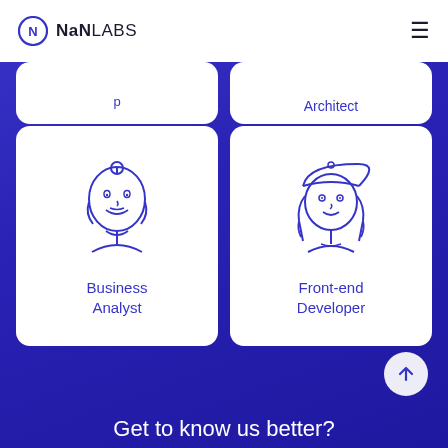NaNLABS
[Figure (illustration): Partial card top-left with letter p visible]
[Figure (illustration): Partial card top-right showing text Architect]
[Figure (illustration): Card with line-art illustration of a man with bun hairstyle and beard - Business Analyst]
Business Analyst
[Figure (illustration): Card with line-art illustration of a woman with cap and long hair - Front-end Developer]
Front-end Developer
Get to know us better?